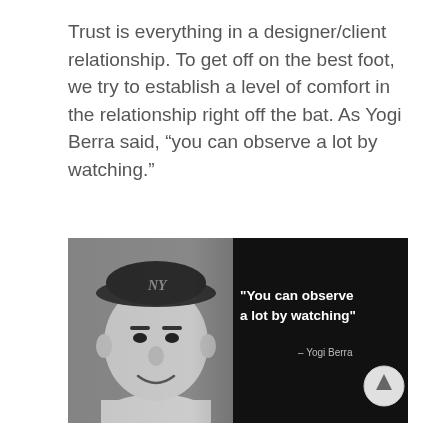Trust is everything in a designer/client relationship. To get off on the best foot, we try to establish a level of comfort in the relationship right off the bat. As Yogi Berra said, “you can observe a lot by watching.”
[Figure (photo): Black and white photo of Yogi Berra wearing a NY Yankees cap, smiling. Overlaid on the right half is a dark background with quote text: '"You can observe a lot by watching"' and attribution '– Yogi Berra'. A circular scroll-up button appears at the bottom right.]